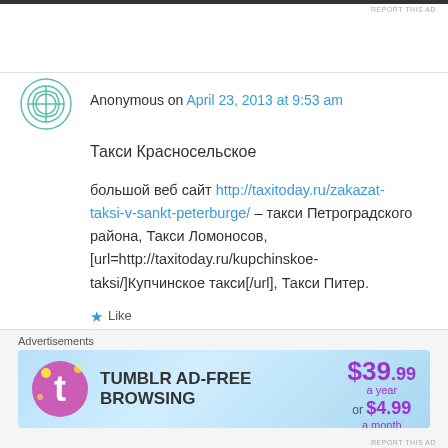REPORT THIS AD
Anonymous on April 23, 2013 at 9:53 am
Такси Красносельское
большой веб сайт http://taxitoday.ru/zakazat-taksi-v-sankt-peterburge/ – такси Петроградского района, Такси Ломоносов, [url=http://taxitoday.ru/kupchinskoe-taksi/]Купчинское такси[/url], Такси Питер.
★ Like
↳ Reply
Advertisements
[Figure (infographic): Tumblr Ad-Free Browsing advertisement banner showing $39.99 a year or $4.99 a month pricing]